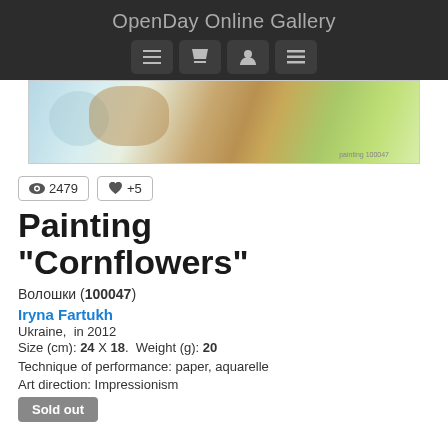OpenDay Online Gallery
[Figure (screenshot): Navigation bar with four icon buttons: list/menu, shopping cart, user profile, hamburger menu]
[Figure (photo): Partial view of a painting showing blue, brown and green watercolor strokes — the top portion of Cornflowers painting]
👁 2479   ♥ +5
Painting "Cornflowers"
Волошки (100047)
Iryna Fartukh
Ukraine,  in 2012
Size (cm): 24 X 18.  Weight (g): 20
Technique of performance: paper, aquarelle
Art direction: Impressionism
Sold out